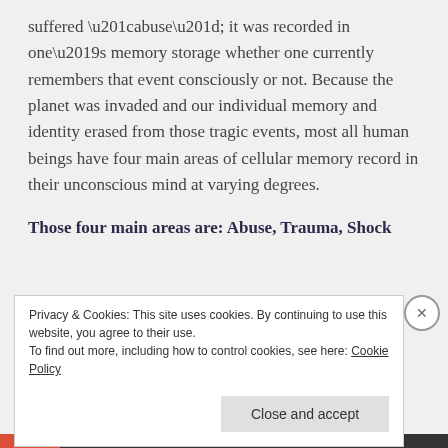suffered “abuse”; it was recorded in one’s memory storage whether one currently remembers that event consciously or not. Because the planet was invaded and our individual memory and identity erased from those tragic events, most all human beings have four main areas of cellular memory record in their unconscious mind at varying degrees.
Those four main areas are: Abuse, Trauma, Shock
Privacy & Cookies: This site uses cookies. By continuing to use this website, you agree to their use.
To find out more, including how to control cookies, see here: Cookie Policy